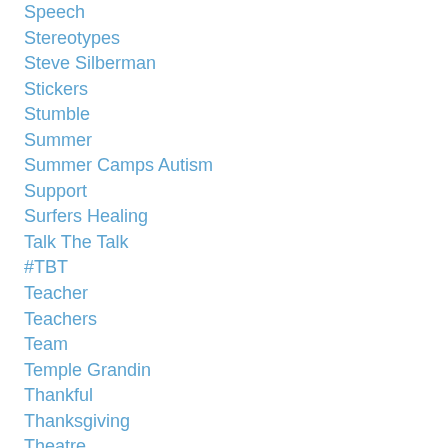Speech
Stereotypes
Steve Silberman
Stickers
Stumble
Summer
Summer Camps Autism
Support
Surfers Healing
Talk The Talk
#TBT
Teacher
Teachers
Team
Temple Grandin
Thankful
Thanksgiving
Theatre
The AWEnesty Of Autism
The A Word
#thedress